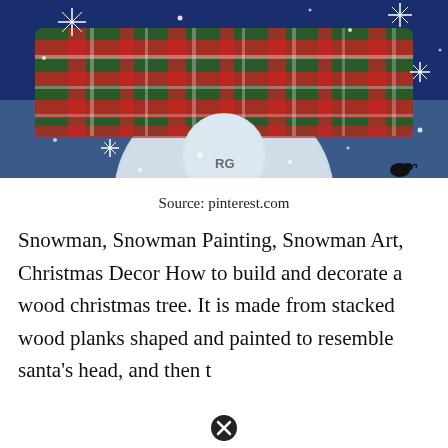[Figure (illustration): A painting of a snowman wearing a green and red plaid scarf against a dark blue snowy night sky with stars. The artist signature 'RG' is visible in the lower left. A small black bird is visible in the lower right corner.]
Source: pinterest.com
Snowman, Snowman Painting, Snowman Art, Christmas Decor How to build and decorate a wood christmas tree. It is made from stacked wood planks shaped and painted to resemble santa's head, and then topped with a...